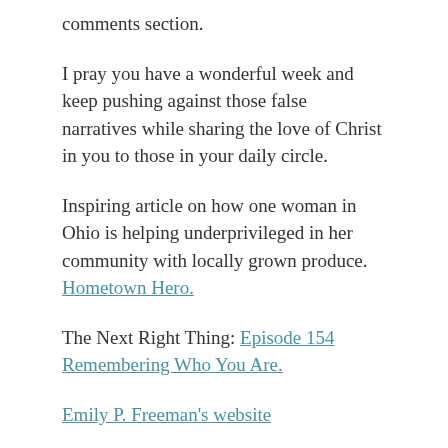comments section.
I pray you have a wonderful week and keep pushing against those false narratives while sharing the love of Christ in you to those in your daily circle.
Inspiring article on how one woman in Ohio is helping underprivileged in her community with locally grown produce. Hometown Hero.
The Next Right Thing: Episode 154 Remembering Who You Are.
Emily P. Freeman's website
Follow Emily on Instagram
Follow me on Instagram